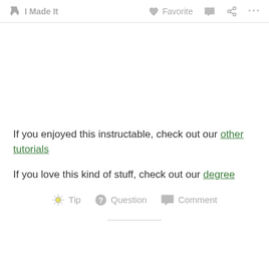✋ I Made It   ♥ Favorite   💬   ⋘   ···
If you enjoyed this instructable, check out our other tutorials
If you love this kind of stuff, check out our degree
💡 Tip   ? Question   💬 Comment